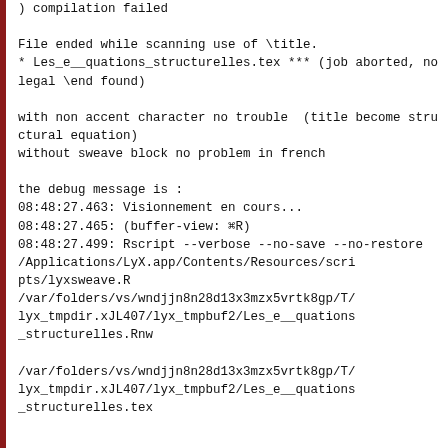) compilation failed

File ended while scanning use of \title.
* Les_e__quations_structurelles.tex *** (job aborted, no legal \end found)

with non accent character no trouble  (title become structural equation)
without sweave block no problem in french

the debug message is :
08:48:27.463: Visionnement en cours...
08:48:27.465: (buffer-view: ⌘R)
08:48:27.499: Rscript --verbose --no-save --no-restore
/Applications/LyX.app/Contents/Resources/scripts/lyxsweave.R
/var/folders/vs/wndjjn8n28d13x3mzx5vrtk8gp/T/lyx_tmpdir.xJL407/lyx_tmpbuf2/Les_e__quations_structurelles.Rnw

/var/folders/vs/wndjjn8n28d13x3mzx5vrtk8gp/T/lyx_tmpdir.xJL407/lyx_tmpbuf2/Les_e__quations_structurelles.tex